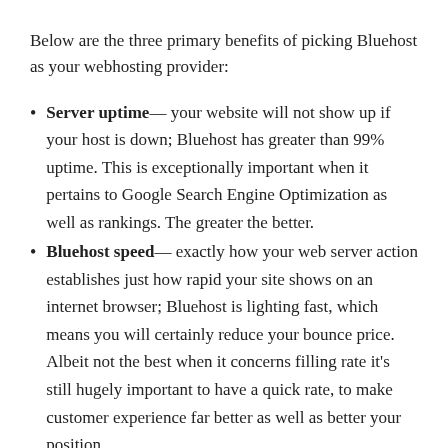Below are the three primary benefits of picking Bluehost as your webhosting provider:
Server uptime— your website will not show up if your host is down; Bluehost has greater than 99% uptime. This is exceptionally important when it pertains to Google Search Engine Optimization as well as rankings. The greater the better.
Bluehost speed— exactly how your web server action establishes just how rapid your site shows on an internet browser; Bluehost is lighting fast, which means you will certainly reduce your bounce price. Albeit not the best when it concerns filling rate it's still hugely important to have a quick rate, to make customer experience far better as well as better your position.
Endless storage— if you obtain the And also strategy, you need not worry about the amount of data you keep such as